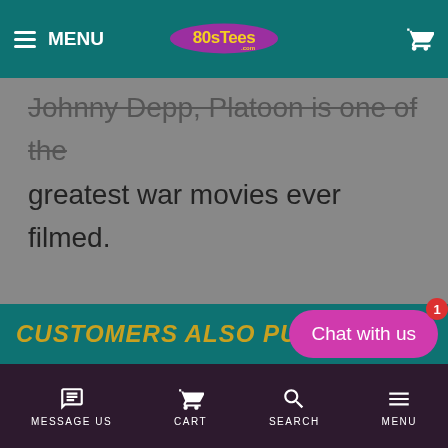MENU | 80sTees.com
Johnny Depp, Platoon is one of the greatest war movies ever filmed.

Now, you can show that you are a fan with this Movie Poster Platoon t-shirt. Get yours while you still can!
CUSTOMERS ALSO PURCH...
MESSAGE US | CART | SEARCH | MENU